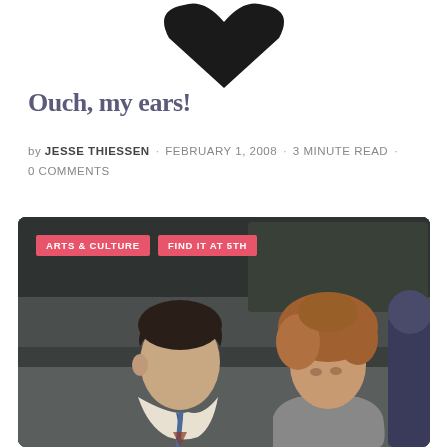[Figure (illustration): Partial dark heart/logo shape at top center, cut off at page top]
Ouch, my ears!
by JESSE THIESSEN · FEBRUARY 1, 2008 · 3 MINUTE READ · 0 COMMENTS
[Figure (photo): Photo of two people sitting together, a young man in foreground wearing a white shirt and tie, and a curly-haired woman behind him, both in what appears to be a transit vehicle. Two pink category tags overlay the top-left: 'ARTS & CULTURE' and 'FIND IT AT 5TH']